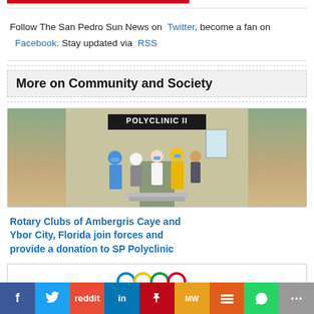Follow The San Pedro Sun News on Twitter, become a fan on Facebook. Stay updated via RSS
More on Community and Society
[Figure (photo): Group of people wearing masks standing in front of Polyclinic II building]
Rotary Clubs of Ambergris Caye and Ybor City, Florida join forces and provide a donation to SP Polyclinic
[Figure (other): Olympic rings logo]
Social share bar: Facebook, Twitter, Reddit, LinkedIn, Pinterest, MW, Mix, WhatsApp, More